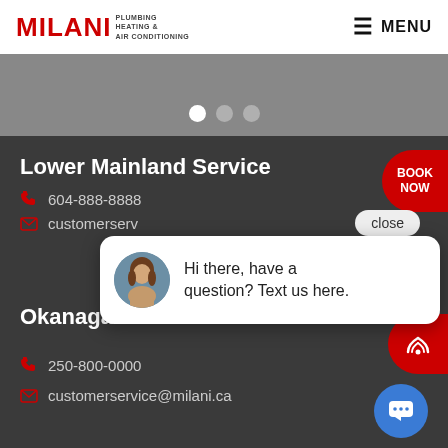MILANI PLUMBING HEATING & AIR CONDITIONING — MENU
[Figure (screenshot): Carousel/slider gray area with three navigation dots (first dot white/active, second and third gray)]
Lower Mainland Service
604-888-8888
customerserv...
[Figure (screenshot): Chat popup bubble with avatar photo of a woman and text: Hi there, have a question? Text us here. Close button and BOOK NOW button visible.]
Okanagan Service
250-800-0000
customerservice@milani.ca